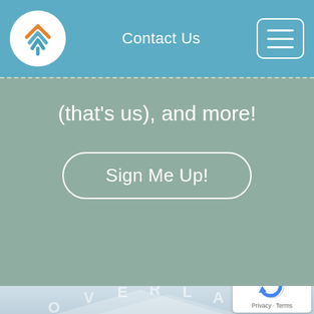[Figure (logo): Overland logo - circular white background with orange and blue chevron/arrow marks stacked]
Contact Us
[Figure (other): Hamburger menu button (three horizontal lines in rounded rectangle border)]
(that's us), and more!
Sign Me Up!
[Figure (logo): Overland brand logo - arc text spelling OVERLAND with mountain chevron graphic, light blue background with mountain silhouette]
[Figure (other): Google reCAPTCHA badge with reCAPTCHA logo and Privacy · Terms links]